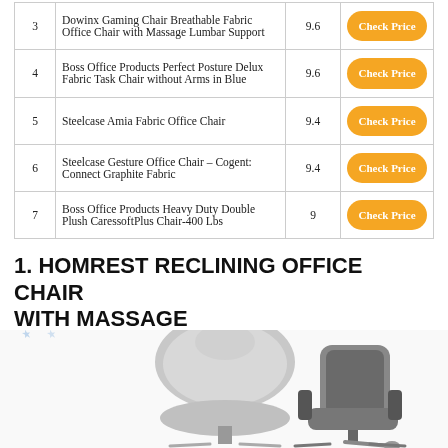| # | Product | Score | Link |
| --- | --- | --- | --- |
| 3 | Dowinx Gaming Chair Breathable Fabric Office Chair with Massage Lumbar Support | 9.6 | Check Price |
| 4 | Boss Office Products Perfect Posture Delux Fabric Task Chair without Arms in Blue | 9.6 | Check Price |
| 5 | Steelcase Amia Fabric Office Chair | 9.4 | Check Price |
| 6 | Steelcase Gesture Office Chair – Cogent: Connect Graphite Fabric | 9.4 | Check Price |
| 7 | Boss Office Products Heavy Duty Double Plush CaressoftPlus Chair-400 Lbs | 9 | Check Price |
1. HOMREST RECLINING OFFICE CHAIR WITH MASSAGE
[Figure (photo): Two office chairs shown — a gray fabric reclining chair (center) and a dark leather office chair with footrest (right), with a star rating graphic on the left side.]